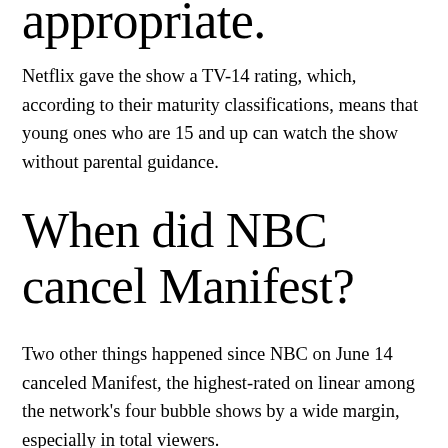appropriate.
Netflix gave the show a TV-14 rating, which, according to their maturity classifications, means that young ones who are 15 and up can watch the show without parental guidance.
When did NBC cancel Manifest?
Two other things happened since NBC on June 14 canceled Manifest, the highest-rated on linear among the network's four bubble shows by a wide margin, especially in total viewers.